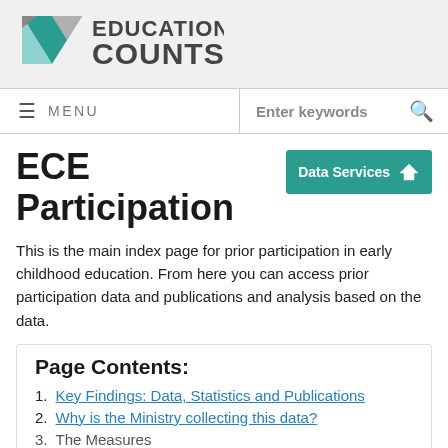Education Counts
MENU  Enter keywords
ECE Participation
This is the main index page for prior participation in early childhood education. From here you can access prior participation data and publications and analysis based on the data.
Page Contents:
1. Key Findings: Data, Statistics and Publications
2. Why is the Ministry collecting this data?
3. The Measures